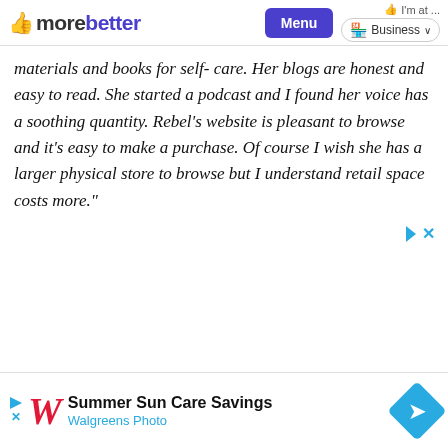morebetter | Menu | I'm at ... Business
materials and books for self- care. Her blogs are honest and easy to read. She started a podcast and I found her voice has a soothing quantity. Rebel's website is pleasant to browse and it's easy to make a purchase. Of course I wish she has a larger physical store to browse but I understand retail space costs more."
[Figure (other): Ad controls: play triangle and X close button in teal/cyan color]
[Figure (other): Walgreens banner advertisement: Summer Sun Care Savings, Walgreens Photo, with red Walgreens W logo and blue diamond arrow icon]